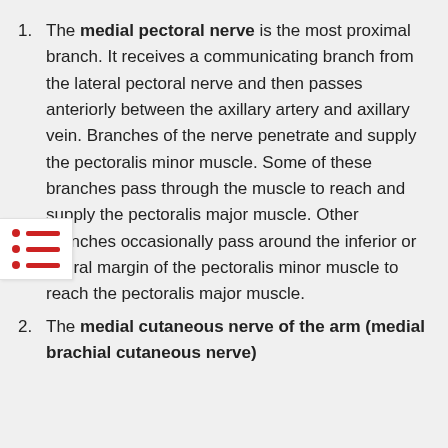The medial pectoral nerve is the most proximal branch. It receives a communicating branch from the lateral pectoral nerve and then passes anteriorly between the axillary artery and axillary vein. Branches of the nerve penetrate and supply the pectoralis minor muscle. Some of these branches pass through the muscle to reach and supply the pectoralis major muscle. Other branches occasionally pass around the inferior or lateral margin of the pectoralis minor muscle to reach the pectoralis major muscle.
The medial cutaneous nerve of the arm (medial brachial cutaneous nerve)